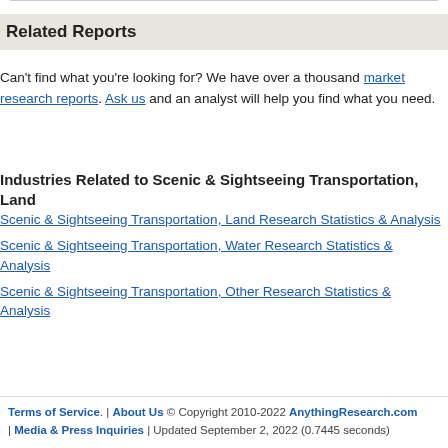Related Reports
Can't find what you're looking for? We have over a thousand market research reports. Ask us and an analyst will help you find what you need.
Industries Related to Scenic & Sightseeing Transportation, Land
Scenic & Sightseeing Transportation, Land Research Statistics & Analysis
Scenic & Sightseeing Transportation, Water Research Statistics & Analysis
Scenic & Sightseeing Transportation, Other Research Statistics & Analysis
Terms of Service. | About Us © Copyright 2010-2022 AnythingResearch.com | Media & Press Inquiries | Updated September 2, 2022 (0.7445 seconds)